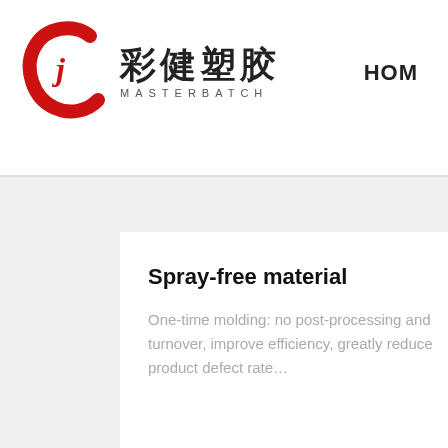[Figure (logo): Caijian Masterbatch company logo: red stylized 'CJ' letter mark with Chinese characters 彩健塑胶 and subtitle MASTERBATCH]
HOM
Spray-free material
One-time molding: no post-processing and turnover, improve efficiency, greatly reduce product defect rate…
PC flame
PC transpare masterbatch/ masterbatch,